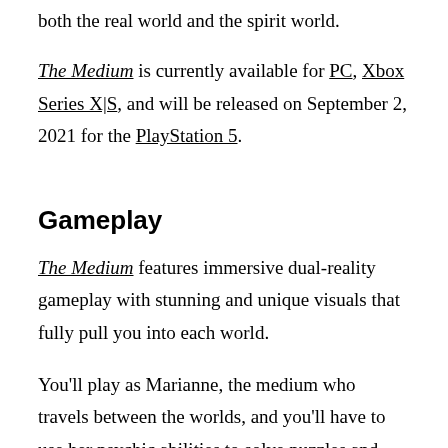both the real world and the spirit world.
The Medium is currently available for PC, Xbox Series X|S, and will be released on September 2, 2021 for the PlayStation 5.
Gameplay
The Medium features immersive dual-reality gameplay with stunning and unique visuals that fully pull you into each world.
You'll play as Marianne, the medium who travels between the worlds, and you'll have to use her psychic abilities to solve puzzles and combat hostile